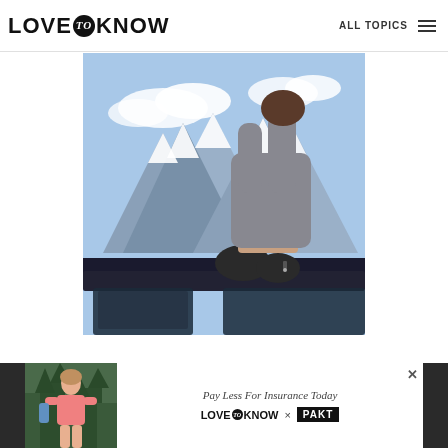LOVE to KNOW | ALL TOPICS
[Figure (photo): Person sitting on top of a car roof with snowy mountain peaks in the background, wearing gray sweater and dark yoga pants]
[Figure (photo): Advertisement banner: woman in pink athletic wear on left, 'Pay Less For Insurance Today' text, LoveToKnow x PAKT logo on right, dark background on sides]